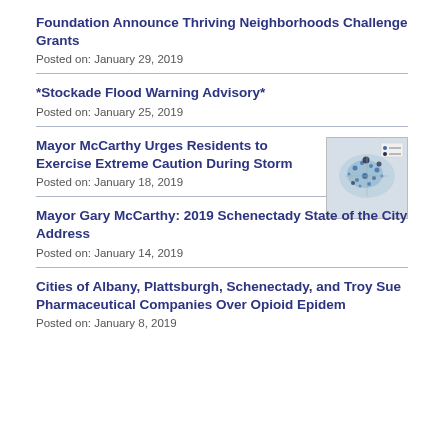Foundation Announce Thriving Neighborhoods Challenge Grants
Posted on:  January 29, 2019
*Stockade Flood Warning Advisory*
Posted on:  January 25, 2019
Mayor McCarthy Urges Residents to Exercise Extreme Caution During Storm
[Figure (map): A map showing storm or flood affected area with blue and dark markers on a light background.]
Posted on:  January 18, 2019
Mayor Gary McCarthy: 2019 Schenectady State of the City Address
Posted on:  January 14, 2019
Cities of Albany, Plattsburgh, Schenectady, and Troy Sue Pharmaceutical Companies Over Opioid Epidem
Posted on:  January 8, 2019